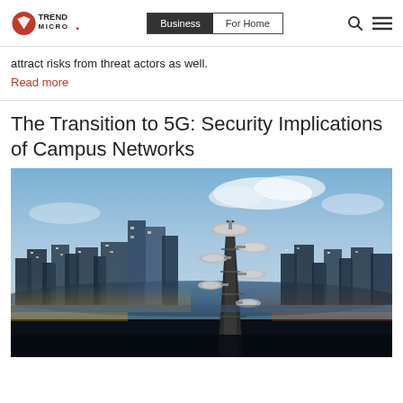Trend Micro | Business | For Home
attract risks from threat actors as well.
Read more
The Transition to 5G: Security Implications of Campus Networks
[Figure (photo): Aerial cityscape at dusk with a 5G/telecommunications tower in the foreground featuring multiple antenna dishes, with a river winding through a dense urban skyline under a blue sky with clouds.]